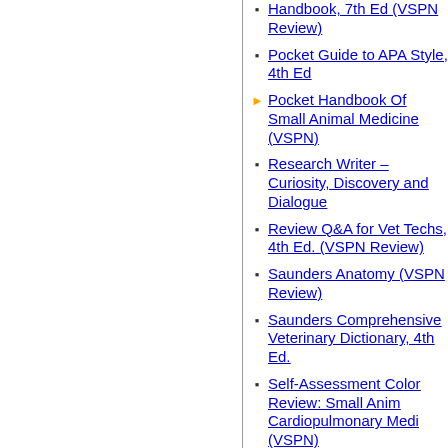Handbook, 7th Ed (VSPN Review)
Pocket Guide to APA Style, 4th Ed
Pocket Handbook Of Small Animal Medicine (VSPN)
Research Writer – Curiosity, Discovery and Dialogue
Review Q&A for Vet Techs, 4th Ed. (VSPN Review)
Saunders Anatomy (VSPN Review)
Saunders Comprehensive Veterinary Dictionary, 4th Ed.
Self-Assessment Color Review: Small Anim Cardiopulmonary Medi (VSPN)
Self-Assessment Color Review: Small Animal Ophthalmology
Sheep Medicine 2nd ed (VSPN)